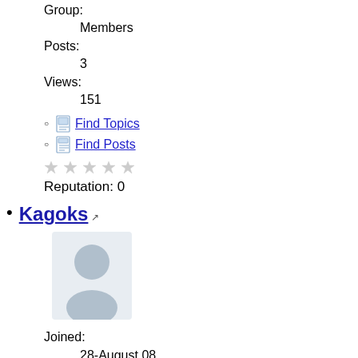Group:
Members
Posts:
3
Views:
151
Find Topics
Find Posts
Reputation: 0
Kagoks
[Figure (illustration): Default user avatar silhouette in grey]
Joined:
28-August 08
Group:
Members
Posts:
2